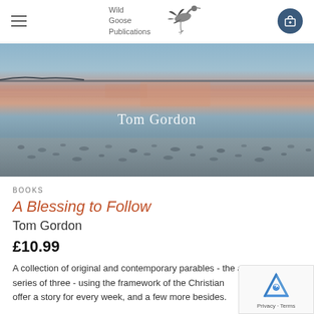Wild Goose Publications
[Figure (photo): Landscape photo of a shoreline at dusk with pinkish-orange reflections on water, pebbly beach in foreground, and the text 'Tom Gordon' overlaid in white]
BOOKS
A Blessing to Follow
Tom Gordon
£10.99
A collection of original and contemporary parables - the a series of three - using the framework of the Christian offer a story for every week, and a few more besides.